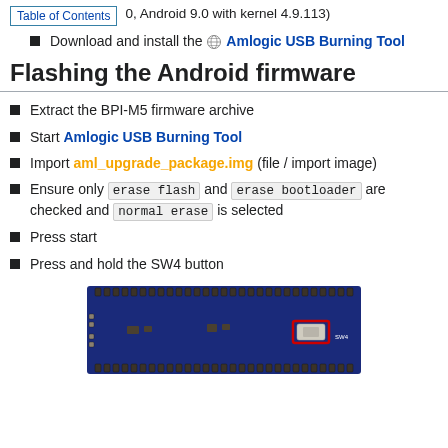Table of Contents    0, Android 9.0 with kernel 4.9.113)
Download and install the Amlogic USB Burning Tool
Flashing the Android firmware
Extract the BPI-M5 firmware archive
Start Amlogic USB Burning Tool
Import aml_upgrade_package.img (file / import image)
Ensure only erase flash and erase bootloader are checked and normal erase is selected
Press start
Press and hold the SW4 button
[Figure (photo): Photo of BPI-M5 board showing the SW4 button highlighted with a red rectangle outline on the right side of the board.]